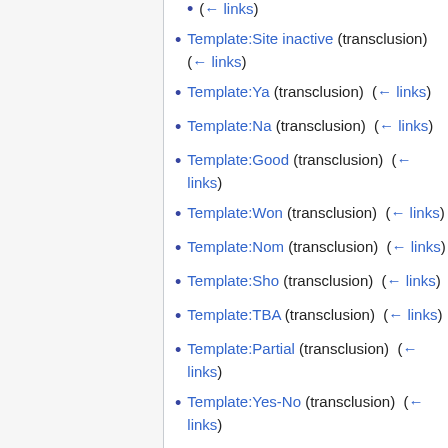(← links)
Template:Site inactive (transclusion) (← links)
Template:Ya (transclusion) (← links)
Template:Na (transclusion) (← links)
Template:Good (transclusion) (← links)
Template:Won (transclusion) (← links)
Template:Nom (transclusion) (← links)
Template:Sho (transclusion) (← links)
Template:TBA (transclusion) (← links)
Template:Partial (transclusion) (← links)
Template:Yes-No (transclusion) (← links)
Template:Okay (transclusion) (←